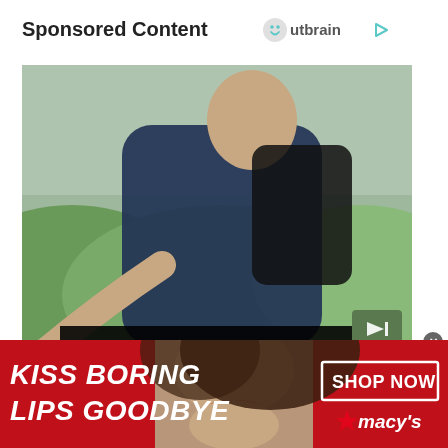Sponsored Content
[Figure (logo): Outbrain logo with smiley face icon and play button arrow]
[Figure (photo): A man with a backpack reaching his hand out toward the camera, outdoors with green hills in background. A next-track button is overlaid at right.]
Personalized Recommendations You Can't Miss
[Figure (infographic): Macy's bottom advertisement banner: red background, woman's face with red lipstick in center, text 'KISS BORING LIPS GOODBYE' on left, 'SHOP NOW' button and Macy's logo star on right]